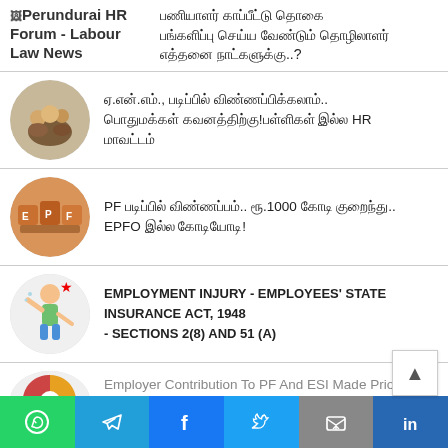Perundurai HR Forum - Labour Law News
Tamil text headline (script)
Tamil article 1: ஏ.என்.எம்., படிப்பில் விண்ணப்பிக்கலாம்.. பொதுமக்கள் கவனத்திற்கு!பள்ளிகள் இல்லா HR மாவட்டம்
PF படிப்பில் விண்ணப்பம்.. ரூ.1000 கோடி குறைந்து.. EPFO இல்ல கோடியோடி!
EMPLOYMENT INJURY - EMPLOYEES' STATE INSURANCE ACT, 1948 - SECTIONS 2(8) AND 51 (A)
Employer Contribution To PF And ESI Made Prior To Filing...